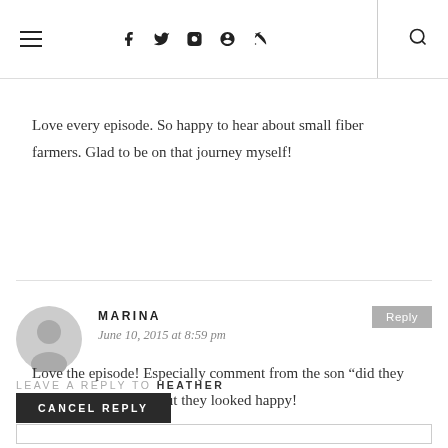Navigation header with hamburger menu, social icons (Facebook, Twitter, Instagram, Pinterest, RSS), search icon
Love every episode. So happy to hear about small fiber farmers. Glad to be on that journey myself!
MARINA
June 10, 2015 at 8:59 pm
Love the episode! Especially comment from the son “did they look rich?”, not sure but they looked happy!
LEAVE A REPLY TO HEATHER
CANCEL REPLY